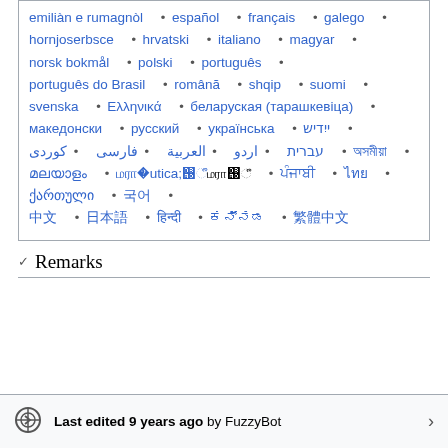emiliàn e rumagnòl • español • français • galego • hornjoserbsce • hrvatski • italiano • magyar • norsk bokmål • polski • português • português do Brasil • română • shqip • suomi • svenska • Ελληνικά • беларуская (тарашкевіца) • македонски • русский • українська • ייִדיש • עברית • اردو • العربية • فارسی • کوردی • [various scripts] • ქართული • [various scripts]
Remarks
Last edited 9 years ago by FuzzyBot